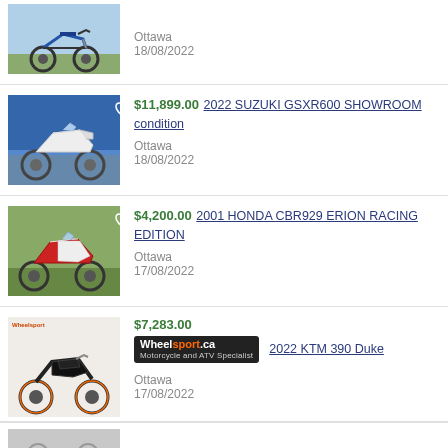[Figure (photo): Partial top listing: blue dirt bike motorcycle photo, partially visible]
Ottawa
18/08/2022
[Figure (photo): White sport motorcycle (Suzuki GSX-R600) with heart icon]
$11,899.00 2022 SUZUKI GSXR600 SHOWROOM condition
Ottawa
18/08/2022
[Figure (photo): Red and black Honda CBR929 Erion Racing Edition motorcycle with heart icon]
$4,200.00 2001 HONDA CBR929 ERION RACING EDITION
Ottawa
17/08/2022
[Figure (photo): KTM 390 Duke motorcycle in black and orange, with Wheelsport dealer badge]
$7,283.00 2022 KTM 390 Duke
Ottawa
17/08/2022
[Figure (photo): Partial bottom listing: motorcycle photo, partially visible]